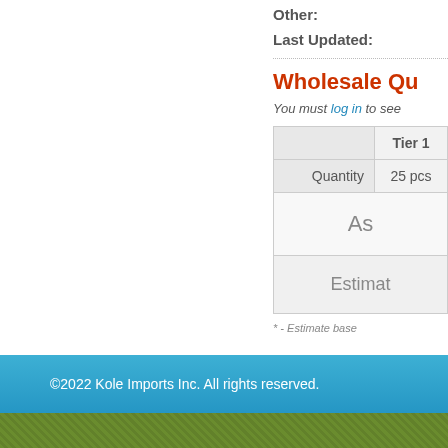Other:
Last Updated:
Wholesale Qu...
You must log in to see...
|  | Tier 1 |
| --- | --- |
| Quantity | 25 pcs |
|  | As... |
|  | Estimat... |
* - Estimate base...
©2022 Kole Imports Inc. All rights reserved.